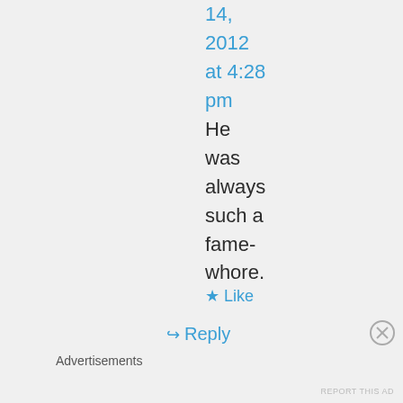14, 2012 at 4:28 pm
He was always such a fame-whore.
★ Like
↳ Reply
Advertisements
REPORT THIS AD